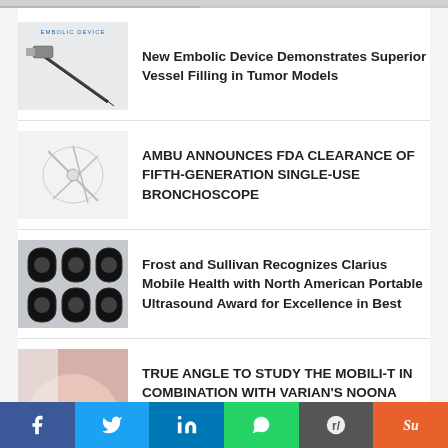[Figure (illustration): Top partial image, cropped news item thumbnail]
New Embolic Device Demonstrates Superior Vessel Filling in Tumor Models
AMBU ANNOUNCES FDA CLEARANCE OF FIFTH-GENERATION SINGLE-USE BRONCHOSCOPE
Frost and Sullivan Recognizes Clarius Mobile Health with North American Portable Ultrasound Award for Excellence in Best
TRUE ANGLE TO STUDY THE MOBILI-T IN COMBINATION WITH VARIAN'S NOONA
[Figure (infographic): Social media share bar with Facebook, Twitter, LinkedIn, WhatsApp, Reddit, StumbleUpon icons]